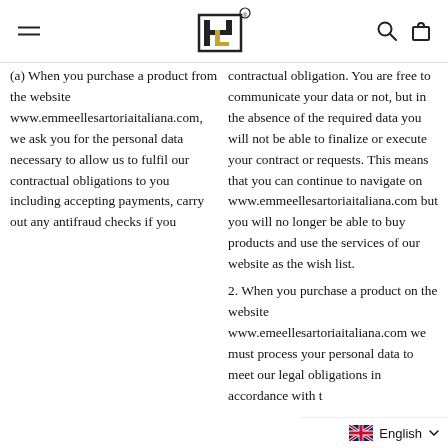Emmeelle Sartoria Italiana - website header with logo, menu, search and cart icons
contractual obligation. You are free to communicate your data or not, but in the absence of the required data you will not be able to finalize or execute your contract or requests. This means that you can continue to navigate on www.emmeellesartoriaitaliana.com but you will no longer be able to buy products and use the services of our website as the wish list.
(a) When you purchase a product from the website www.emmeellesartoriaitaliana.com, we ask you for the personal data necessary to allow us to fulfil our contractual obligations to you including accepting payments, carry out any antifraud checks if you
2. When you purchase a product on the website www.emeellesartoriaitaliana.com we must process your personal data to meet our legal obligations in accordance with t